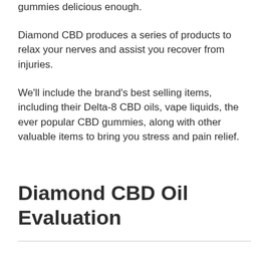gummies delicious enough.
Diamond CBD produces a series of products to relax your nerves and assist you recover from injuries.
We'll include the brand's best selling items, including their Delta-8 CBD oils, vape liquids, the ever popular CBD gummies, along with other valuable items to bring you stress and pain relief.
Diamond CBD Oil Evaluation